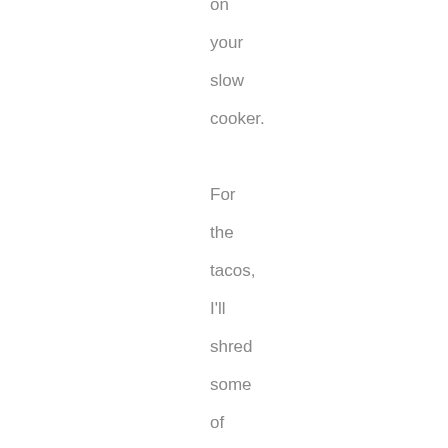on your slow cooker. For the tacos, I'll shred some of the meat, and maybe even fry it so it's officially carnitas – maybe not – depends